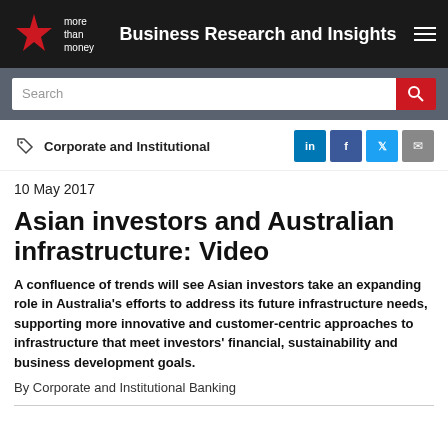Business Research and Insights
Search
Corporate and Institutional
10 May 2017
Asian investors and Australian infrastructure: Video
A confluence of trends will see Asian investors take an expanding role in Australia's efforts to address its future infrastructure needs, supporting more innovative and customer-centric approaches to infrastructure that meet investors' financial, sustainability and business development goals.
By Corporate and Institutional Banking